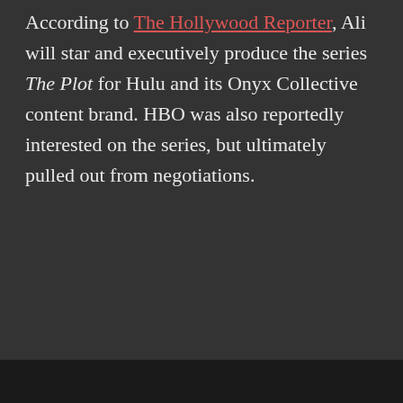According to The Hollywood Reporter, Ali will star and executively produce the series The Plot for Hulu and its Onyx Collective content brand. HBO was also reportedly interested on the series, but ultimately pulled out from negotiations.